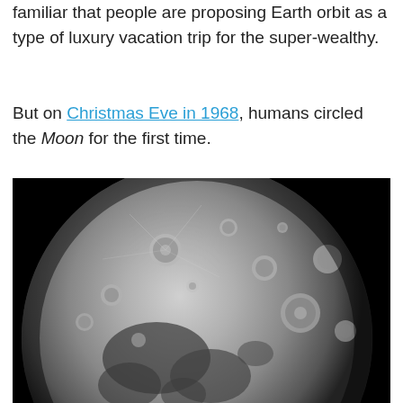familiar that people are proposing Earth orbit as a type of luxury vacation trip for the super-wealthy.
But on Christmas Eve in 1968, humans circled the Moon for the first time.
[Figure (photo): Black and white photograph of the Moon's surface showing craters and dark maria regions against a black space background, taken from orbit.]